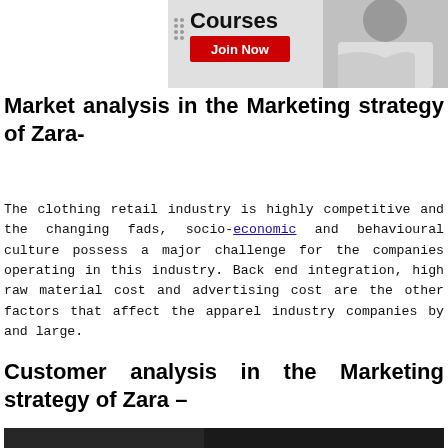[Figure (photo): Banner advertisement showing 'Courses' text with a red 'Join Now' button and a person with arms crossed on the right side]
Market analysis in the Marketing strategy of Zara-
The clothing retail industry is highly competitive and the changing fads, socio-economic and behavioural culture possess a major challenge for the companies operating in this industry. Back end integration, high raw material cost and advertising cost are the other factors that affect the apparel industry companies by and large.
Customer analysis in the Marketing strategy of Zara –
[Figure (photo): Black and white photo at the bottom of the page, partially visible]